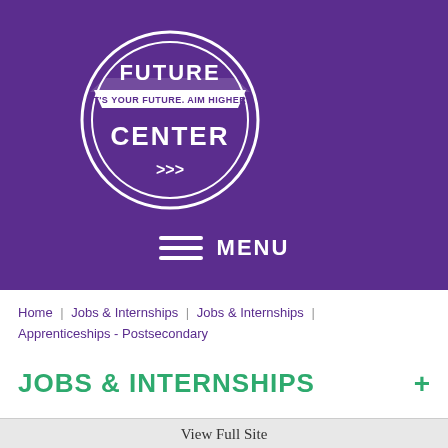[Figure (logo): Future Center circular logo with text 'FUTURE CENTER' and tagline 'IT'S YOUR FUTURE. AIM HIGHER!' with chevron arrows, white on purple background]
MENU
Home | Jobs & Internships | Jobs & Internships | Apprenticeships - Postsecondary
JOBS & INTERNSHIPS +
View Full Site